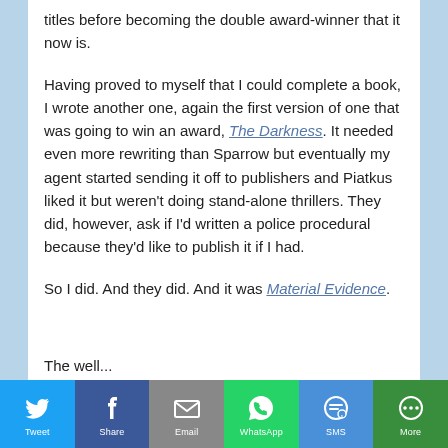titles before becoming the double award-winner that it now is.
Having proved to myself that I could complete a book, I wrote another one, again the first version of one that was going to win an award, The Darkness. It needed even more rewriting than Sparrow but eventually my agent started sending it off to publishers and Piatkus liked it but weren't doing stand-alone thrillers. They did, however, ask if I'd written a police procedural because they'd like to publish it if I had.
So I did. And they did. And it was Material Evidence.
The well... (partial, cut off at bottom)